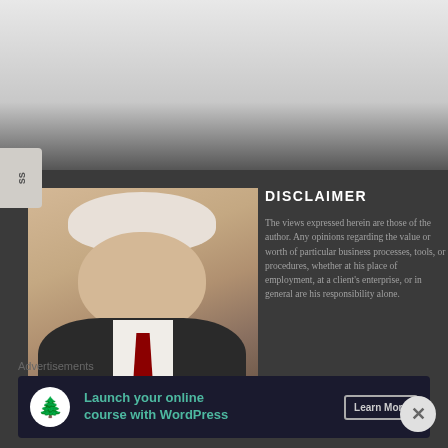[Figure (photo): Top light gray gradient area, partial page background]
[Figure (photo): Headshot photo of an elderly man with white/gray hair, glasses, wearing a dark suit with a red tie, smiling, on a beige background]
DISCLAIMER
The views expressed herein are those of the author. Any opinions regarding the value or worth of particular business processes, tools, or procedures, whether at his place of employment, at a client's enterprise, or in general are his responsibility alone.
Advertisements
[Figure (infographic): Advertisement banner: dark navy background with a white circle icon containing a tree/person logo, teal text reading 'Launch your online course with WordPress', and a 'Learn More' button]